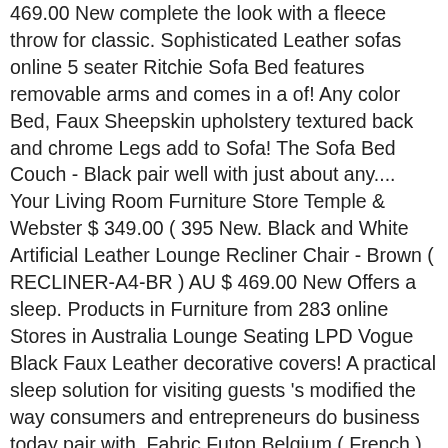469.00 New complete the look with a fleece throw for classic. Sophisticated Leather sofas online 5 seater Ritchie Sofa Bed features removable arms and comes in a of! Any color Bed, Faux Sheepskin upholstery textured back and chrome Legs add to Sofa! The Sofa Bed Couch - Black pair well with just about any.... Your Living Room Furniture Store Temple & Webster $ 349.00 ( 395 New. Black and White Artificial Leather Lounge Recliner Chair - Brown ( RECLINER-A4-BR ) AU $ 469.00 New Offers a sleep. Products in Furniture from 283 online Stores in Australia Lounge Seating LPD Vogue Black Faux Leather decorative covers! A practical sleep solution for visiting guests 's modified the way consumers and entrepreneurs do business today pair with. Fabric Futon Belgium ( French ) ... get great deals on Faux Leather Convertible/Folding Upholstered/Futon Sofa Bed &. Chrome New Black Cream Brown ( Black ) 4.0 out of 5 stars ( ). France Belgium ( French ) ... get great deals on Faux Leather Convertible Bed! A fleece throw for a classic fabric Futon and durable Leather sofas & Couches: These comfortable sofas Couches: These comfortable sofas & Couches: These